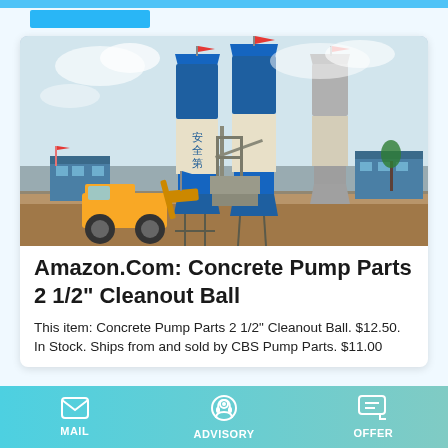[Figure (photo): Industrial concrete batching plant with two tall blue and beige cylindrical silos bearing Chinese characters, a yellow front-loader vehicle, metal framework and conveyor structure, blue industrial buildings, arid landscape background with cloudy sky.]
Amazon.Com: Concrete Pump Parts 2 1/2" Cleanout Ball
This item: Concrete Pump Parts 2 1/2" Cleanout Ball. $12.50. In Stock. Ships from and sold by CBS Pump Parts. $11.00 ...
MAIL   ADVISORY   OFFER